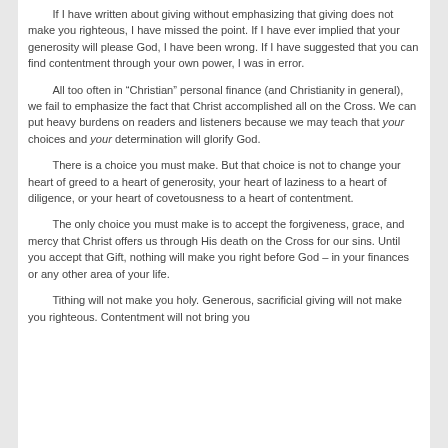If I have written about giving without emphasizing that giving does not make you righteous, I have missed the point. If I have ever implied that your generosity will please God, I have been wrong. If I have suggested that you can find contentment through your own power, I was in error.
All too often in “Christian” personal finance (and Christianity in general), we fail to emphasize the fact that Christ accomplished all on the Cross. We can put heavy burdens on readers and listeners because we may teach that your choices and your determination will glorify God.
There is a choice you must make. But that choice is not to change your heart of greed to a heart of generosity, your heart of laziness to a heart of diligence, or your heart of covetousness to a heart of contentment.
The only choice you must make is to accept the forgiveness, grace, and mercy that Christ offers us through His death on the Cross for our sins. Until you accept that Gift, nothing will make you right before God – in your finances or any other area of your life.
Tithing will not make you holy. Generous, sacrificial giving will not make you righteous. Contentment will not bring you